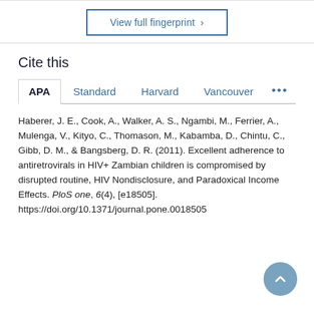View full fingerprint >
Cite this
APA | Standard | Harvard | Vancouver | ...
Haberer, J. E., Cook, A., Walker, A. S., Ngambi, M., Ferrier, A., Mulenga, V., Kityo, C., Thomason, M., Kabamba, D., Chintu, C., Gibb, D. M., & Bangsberg, D. R. (2011). Excellent adherence to antiretrovirals in HIV+ Zambian children is compromised by disrupted routine, HIV Nondisclosure, and Paradoxical Income Effects. PloS one, 6(4), [e18505]. https://doi.org/10.1371/journal.pone.0018505